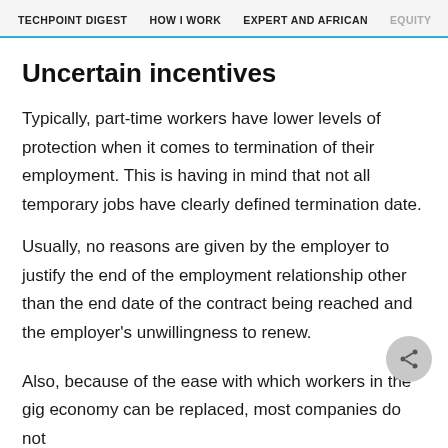TECHPOINT DIGEST   HOW I WORK   EXPERT AND AFRICAN   EQUITY
Uncertain incentives
Typically, part-time workers have lower levels of protection when it comes to termination of their employment. This is having in mind that not all temporary jobs have clearly defined termination date.
Usually, no reasons are given by the employer to justify the end of the employment relationship other than the end date of the contract being reached and the employer's unwillingness to renew.
Also, because of the ease with which workers in the gig economy can be replaced, most companies do not